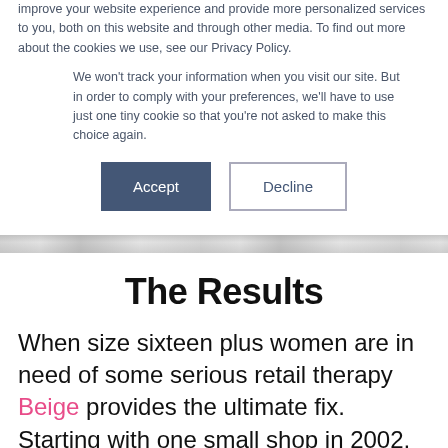improve your website experience and provide more personalized services to you, both on this website and through other media. To find out more about the cookies we use, see our Privacy Policy.
We won't track your information when you visit our site. But in order to comply with your preferences, we'll have to use just one tiny cookie so that you're not asked to make this choice again.
Accept | Decline
The Results
When size sixteen plus women are in need of some serious retail therapy Beige provides the ultimate fix. Starting with one small shop in 2002, Beige's owner, Leanda knew she was on her way to making a dream come